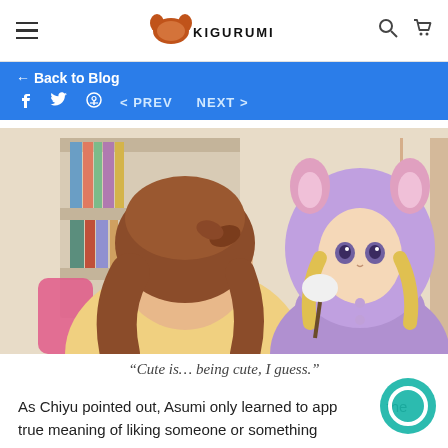KIGURUMI.COM — navigation header with hamburger menu, logo, search and cart icons
← Back to Blog
f  Twitter  ⊕   < PREV   NEXT >
[Figure (illustration): Anime screenshot showing two girls: one with brown hair in ponytail wearing yellow clothes, the other wearing a purple kigurumi/onesie with pink ears and blonde hair, in a bedroom setting.]
“Cute is… being cute, I guess.”
As Chiyu pointed out, Asumi only learned to app the true meaning of liking someone or something